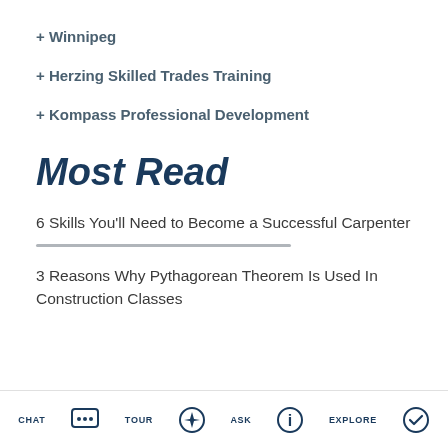+ Winnipeg
+ Herzing Skilled Trades Training
+ Kompass Professional Development
Most Read
6 Skills You'll Need to Become a Successful Carpenter
3 Reasons Why Pythagorean Theorem Is Used In Construction Classes
CHAT  TOUR  ASK  EXPLORE